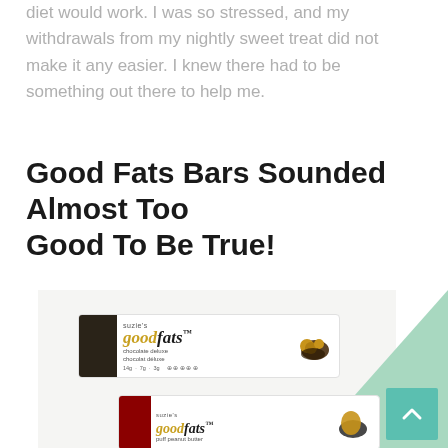diet would work. I was so stressed, and my withdrawals from my nightly sweet treat did not make it any easier. I knew there had to be something out there to help me.
Good Fats Bars Sounded Almost Too Good To Be True!
[Figure (photo): Product photo of 'Suzie's good fats' nutrition bars. Two bars visible: a chocolate-flavored bar in white packaging with dark ends and a red/peanut butter flavored bar below it. A green triangle graphic element appears in the upper right corner of the image area. A teal scroll-to-top button with a chevron arrow is overlaid in the bottom right.]